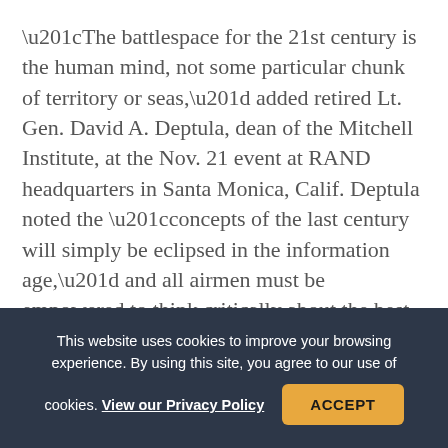“The battlespace for the 21st century is the human mind, not some particular chunk of territory or seas,” added retired Lt. Gen. David A. Deptula, dean of the Mitchell Institute, at the Nov. 21 event at RAND headquarters in Santa Monica, Calif. Deptula noted the “concepts of the last century will simply be eclipsed in the information age,” and all airmen must be empowered to think critically about the best way to solve current and future challenges.
This website uses cookies to improve your browsing experience. By using this site, you agree to our use of cookies. View our Privacy Policy